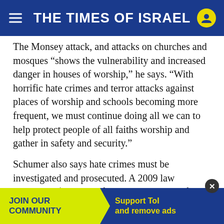THE TIMES OF ISRAEL
The Monsey attack, and attacks on churches and mosques “shows the vulnerability and increased danger in houses of worship,” he says. “With horrific hate crimes and terror attacks against places of worship and schools becoming more frequent, we must continue doing all we can to help protect people of all faiths worship and gather in safety and security.”
Schumer also says hate crimes must be investigated and prosecuted. A 2009 law authorized $5 million for the Department of Justice to provide assistance to state and local law enforcement in the investigation of a
[Figure (infographic): Advertisement banner: JOIN OUR COMMUNITY (yellow) | Support ToI and remove ads (blue) with a close (X) button]